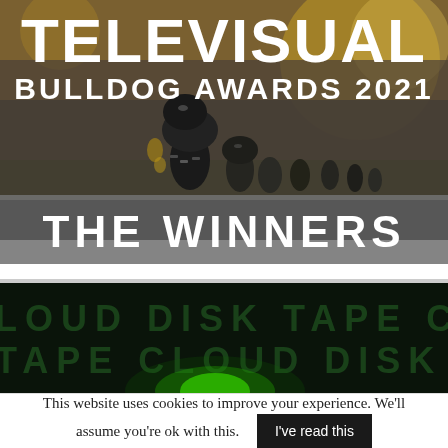[Figure (photo): Televisual Bulldog Awards 2021 header image with bulldog trophies in background, golden/dark bokeh. Text overlay: TELEVISUAL BULLDOG AWARDS 2021]
TELEVISUAL
BULLDOG AWARDS 2021
THE WINNERS
[Figure (photo): Dark background with repeating text: LOUD DISK TAPE CLOUD DISK on two rows in dark green color, with a green glow light at bottom center]
This website uses cookies to improve your experience. We'll assume you're ok with this.
I've read this